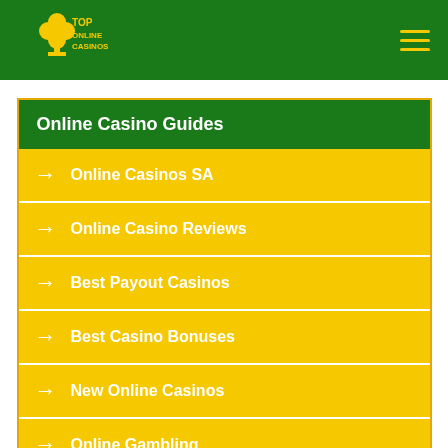TOP ONLINE CASINOS
Online Casino Guides
Online Casinos SA
Online Casino Reviews
Best Payout Casinos
Best Casino Bonuses
New Online Casinos
Online Gambling
Real Money Casinos
Big Win Casinos
Download Casino